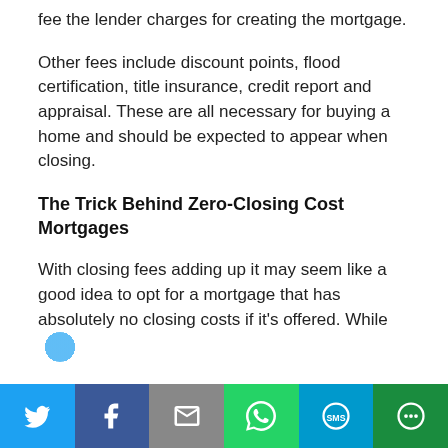fee the lender charges for creating the mortgage.
Other fees include discount points, flood certification, title insurance, credit report and appraisal. These are all necessary for buying a home and should be expected to appear when closing.
The Trick Behind Zero-Closing Cost Mortgages
With closing fees adding up it may seem like a good idea to opt for a mortgage that has absolutely no closing costs if it's offered. While
[Figure (infographic): Social sharing bar with buttons for Twitter, Facebook, Email, WhatsApp, SMS, and More]